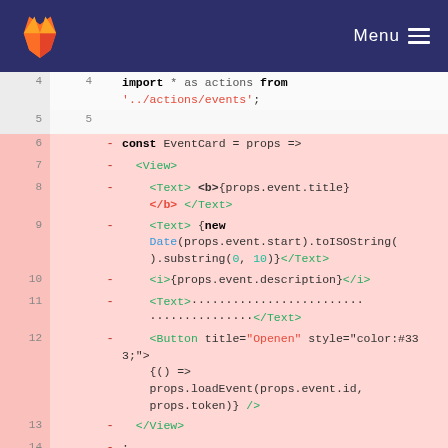GitLab navigation bar with Menu
[Figure (screenshot): Code diff view showing removed lines (red background) and added lines (green background) of a React Native EventCard component. Lines 4-5 are neutral, lines 6-14 are removed (showing EventCard component code), and line 6 added is visible at the bottom (import styles from).]